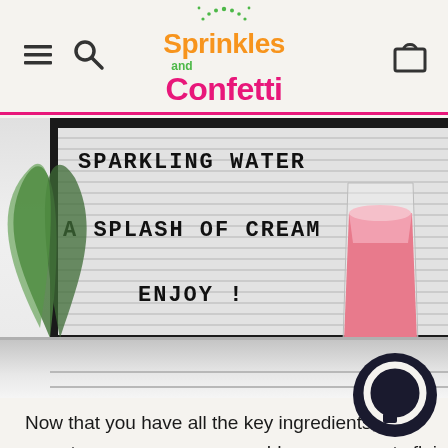Sprinkles and Confetti
[Figure (photo): Letter board on a white wooden surface displaying text 'SPARKLING WATER', 'A SPLASH OF CREAM', 'ENJOY!' with a pink icy drink in a clear cup and green plant leaves visible.]
Now that you have all the key ingredients, you can stop there, or you can add on some party flair with fun paper patterned straws, drink flags, and a pop of color or pattern with your